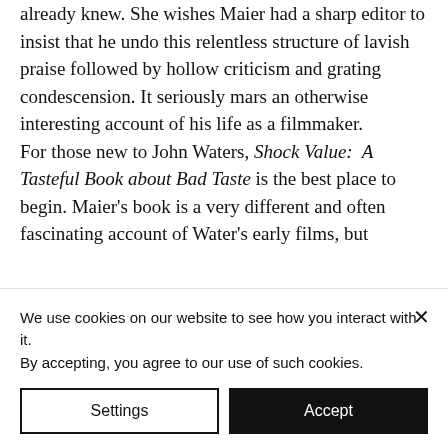already knew. She wishes Maier had a sharp editor to insist that he undo this relentless structure of lavish praise followed by hollow criticism and grating condescension. It seriously mars an otherwise interesting account of his life as a filmmaker. For those new to John Waters, Shock Value: A Tasteful Book about Bad Taste is the best place to begin. Maier's book is a very different and often fascinating account of Water's early films, but
We use cookies on our website to see how you interact with it. By accepting, you agree to our use of such cookies.